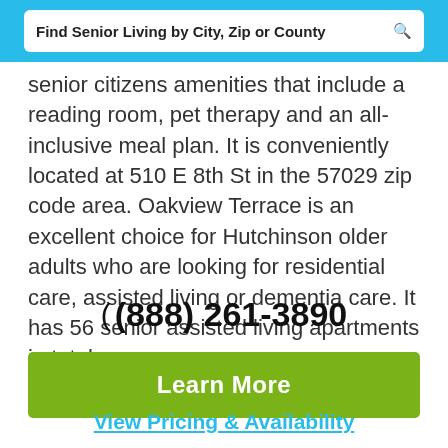Find Senior Living by City, Zip or County
senior citizens amenities that include a reading room, pet therapy and an all-inclusive meal plan. It is conveniently located at 510 E 8th St in the 57029 zip code area. Oakview Terrace is an excellent choice for Hutchinson older adults who are looking for residential care, assisted living or dementia care. It has 56 senior assisted living apartments in total.
(888) 261-3890
Learn More
View Pricing & Availability